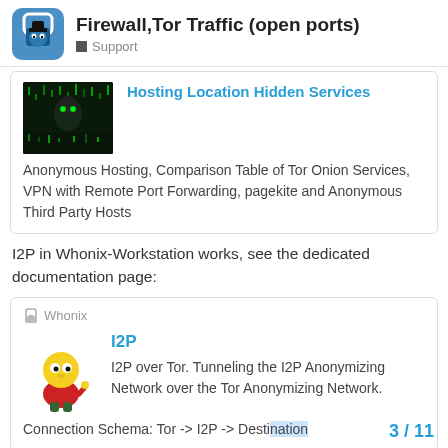Firewall,Tor Traffic (open ports) — Support
[Figure (screenshot): Card with dark hacker image thumbnail and link titled 'Hosting Location Hidden Services', describing Anonymous Hosting, Comparison Table of Tor Onion Services, VPN with Remote Port Forwarding, pagekite and Anonymous Third Party Hosts]
I2P in Whonix-Workstation works, see the dedicated documentation page:
[Figure (screenshot): Whonix quote card with I2P cartoon character icon and link titled 'I2P', describing I2P over Tor. Tunneling the I2P Anonymizing Network over the Tor Anonymizing Network. Connection Schema: Tor -> I2P -> Desti...]
3 / 11